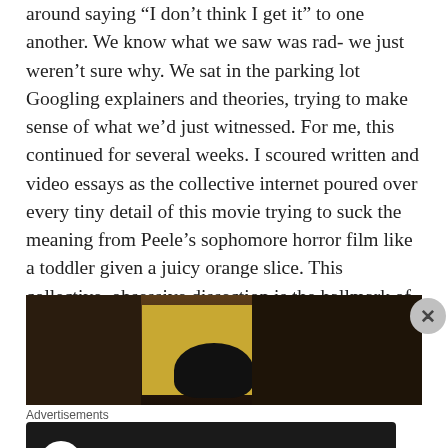around saying “I don’t think I get it” to one another. We know what we saw was rad- we just weren’t sure why. We sat in the parking lot Googling explainers and theories, trying to make sense of what we’d just witnessed. For me, this continued for several weeks. I scoured written and video essays as the collective internet poured over every tiny detail of this movie trying to suck the meaning from Peele’s sophomore horror film like a toddler given a juicy orange slice. This collective, obsessive dissection is the hallmark of a brilliant film.
[Figure (photo): Dark indoor scene showing a yellow illuminated wall or doorway with a silhouetted plant in front, dark walls on either side]
Advertisements
[Figure (infographic): Advertisement banner: dark background with a white circle icon showing a tree/person figure, teal text reading 'Launch your online course with WordPress', and a white 'Learn More' button link]